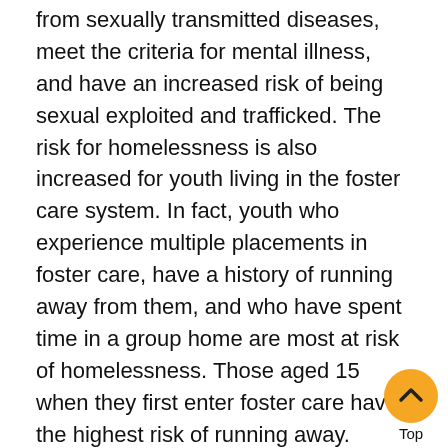from sexually transmitted diseases, meet the criteria for mental illness, and have an increased risk of being sexual exploited and trafficked. The risk for homelessness is also increased for youth living in the foster care system. In fact, youth who experience multiple placements in foster care, have a history of running away from them, and who have spent time in a group home are most at risk of homelessness. Those aged 15 when they first enter foster care have the highest risk of running away. Homeless youth also have a high rate of involvement in the juvenile justice system.
According to statistics from the Office of Justice Programs' OJJDP, on any given day, more than 43,000 young people—many suffering from substance abuse and mental illness, or both—are in juvenile correct[ional facilities]